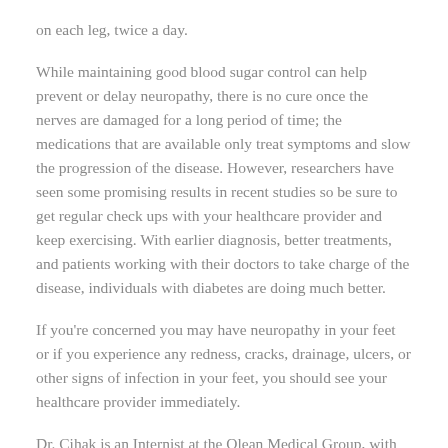on each leg, twice a day.
While maintaining good blood sugar control can help prevent or delay neuropathy, there is no cure once the nerves are damaged for a long period of time; the medications that are available only treat symptoms and slow the progression of the disease. However, researchers have seen some promising results in recent studies so be sure to get regular check ups with your healthcare provider and keep exercising. With earlier diagnosis, better treatments, and patients working with their doctors to take charge of the disease, individuals with diabetes are doing much better.
If you're concerned you may have neuropathy in your feet or if you experience any redness, cracks, drainage, ulcers, or other signs of infection in your feet, you should see your healthcare provider immediately.
Dr. Cihak is an Internist at the Olean Medical Group, with offices in Olean and Ellicottville. He has been practicing at the Group since 1999.